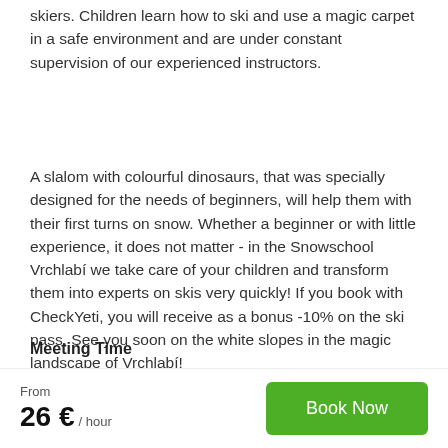skiers. Children learn how to ski and use a magic carpet in a safe environment and are under constant supervision of our experienced instructors.
A slalom with colourful dinosaurs, that was specially designed for the needs of beginners, will help them with their first turns on snow. Whether a beginner or with little experience, it does not matter - in the Snowschool Vrchlabí we take care of your children and transform them into experts on skis very quickly! If you book with CheckYeti, you will receive as a bonus -10% on the ski pass. See you soon on the white slopes in the magic landscape of Vrchlabí!
Meeting Time
We meet 15 min before the lesson starts in the office of
From
26 € / hour
Book Now